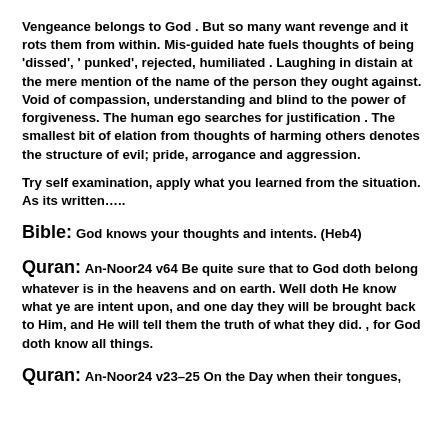Vengeance belongs to God . But so many want revenge and it rots them from within. Mis-guided hate fuels thoughts of being 'dissed', ' punked', rejected, humiliated . Laughing in distain at the mere mention of the name of the person they ought against. Void of compassion, understanding and blind to the power of forgiveness. The human ego searches for justification . The smallest bit of elation from thoughts of harming others denotes the structure of evil; pride, arrogance and aggression.
Try self examination, apply what you learned from the situation. As its written…..
Bible: God knows your thoughts and intents. (Heb4)
Quran: An-Noor24 v64 Be quite sure that to God doth belong whatever is in the heavens and on earth. Well doth He know what ye are intent upon, and one day they will be brought back to Him, and He will tell them the truth of what they did. , for God doth know all things.
Quran: An-Noor24 v23–25 On the Day when their tongues,